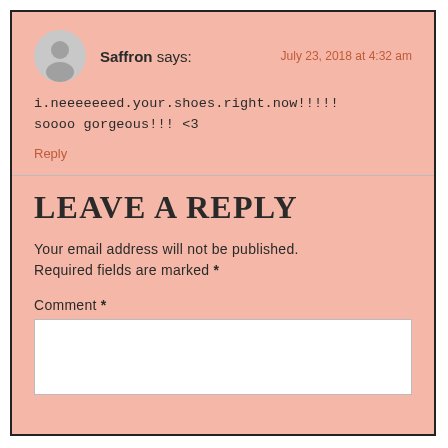Saffron says:
July 23, 2018 at 4:32 am
i.neeeeeeed.your.shoes.right.now!!!!!
soooo gorgeous!!! <3
Reply
LEAVE A REPLY
Your email address will not be published. Required fields are marked *
Comment *